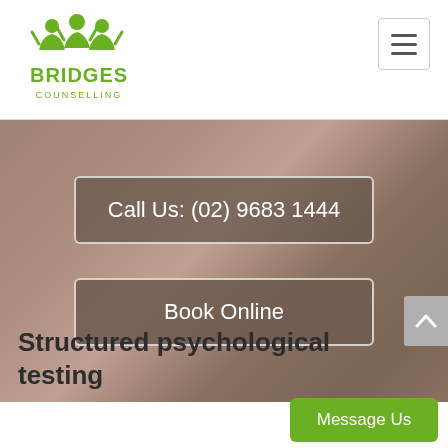[Figure (logo): Bridges Counselling logo: green icon of three people with raised arms above text 'BRIDGES COUNSELLING']
[Figure (screenshot): Website hero section with blurred warm brown/taupe background containing two call-to-action buttons: 'Call Us: (02) 9683 1444' and 'Book Online']
Call Us: (02) 9683 1444
Book Online
Structured psychological testing
Message Us